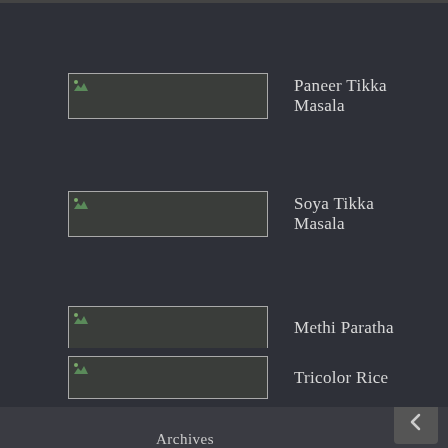Paneer Tikka Masala
Soya Tikka Masala
Methi Paratha
Tricolor Rice
Archives